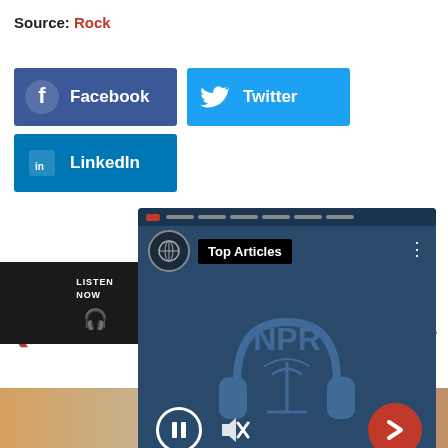Source: Rock
[Figure (screenshot): Social share buttons: Facebook (dark blue), Twitter (light blue), LinkedIn (blue)]
[Figure (screenshot): NPR Top Articles audio player overlay with pause, mute, and next controls, and article headline: 'A huge blaze engulfsGrossinger'sHotel,wh...']
PREVIOUS
LISTEN NOW
LIKE A SPORTSCAR